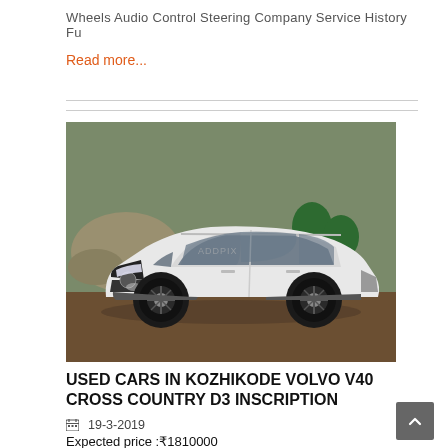Wheels Audio Control Steering Company Service History Fu
Read more...
[Figure (photo): White Volvo V40 Cross Country D3 car parked outdoors in a dusty yard with gravel/rocks in the background.]
USED CARS IN KOZHIKODE VOLVO V40 CROSS COUNTRY D3 INSCRIPTION
19-3-2019
Expected price :₹1810000